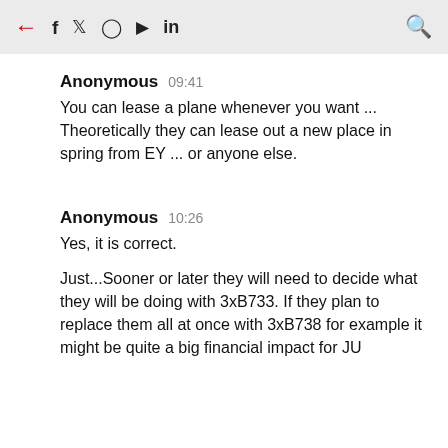← f 𝕋 📷 ▶ in 🔍
Anonymous 09:41
You can lease a plane whenever you want ... Theoretically they can lease out a new place in spring from EY ... or anyone else.
Anonymous 10:26
Yes, it is correct.

Just...Sooner or later they will need to decide what they will be doing with 3xB733. If they plan to replace them all at once with 3xB738 for example it might be quite a big financial impact for JU